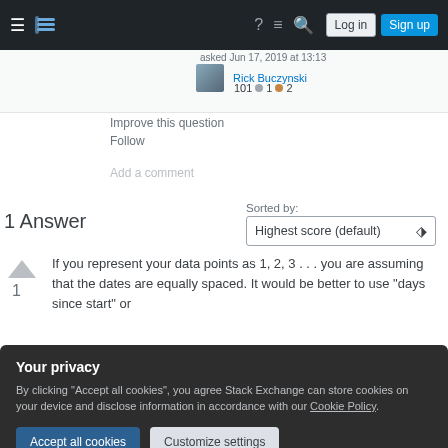Stack Exchange navigation bar with hamburger menu, logo, help, chat, search icons, Log in and Sign up buttons
asked Jun 17, 2019 at 13:13
Rick Buczynski 101 1 2
Improve this question
Follow
Add a comment
Sorted by:
1 Answer
Highest score (default)
If you represent your data points as 1, 2, 3 . . . you are assuming that the dates are equally spaced. It would be better to use "days since start" or
Your privacy
By clicking "Accept all cookies", you agree Stack Exchange can store cookies on your device and disclose information in accordance with our Cookie Policy.
Accept all cookies
Customize settings
points on it from the start of the data. If you want to